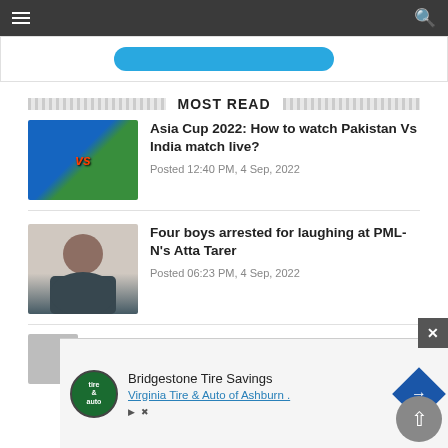Navigation bar with hamburger menu and search icon
[Figure (screenshot): Partially visible blue button area]
MOST READ
[Figure (photo): Cricket match thumbnail showing Pakistan vs India players with VS text overlay]
Asia Cup 2022: How to watch Pakistan Vs India match live?
Posted 12:40 PM, 4 Sep, 2022
[Figure (photo): Photo of a bearded man in a suit]
Four boys arrested for laughing at PML-N's Atta Tarer
Posted 06:23 PM, 4 Sep, 2022
[Figure (photo): Partially visible photo of a person]
[Figure (other): Advertisement banner: Bridgestone Tire Savings, Virginia Tire & Auto of Ashburn with logo and direction sign icon]
Bridgestone Tire Savings
Virginia Tire & Auto of Ashburn .
price